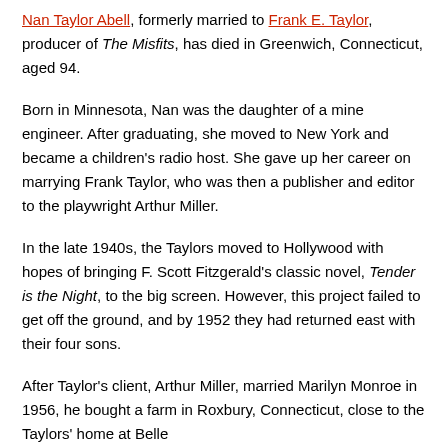Nan Taylor Abell, formerly married to Frank E. Taylor, producer of The Misfits, has died in Greenwich, Connecticut, aged 94.
Born in Minnesota, Nan was the daughter of a mine engineer. After graduating, she moved to New York and became a children's radio host. She gave up her career on marrying Frank Taylor, who was then a publisher and editor to the playwright Arthur Miller.
In the late 1940s, the Taylors moved to Hollywood with hopes of bringing F. Scott Fitzgerald's classic novel, Tender is the Night, to the big screen. However, this project failed to get off the ground, and by 1952 they had returned east with their four sons.
After Taylor's client, Arthur Miller, married Marilyn Monroe in 1956, he bought a farm in Roxbury, Connecticut, close to the Taylors' home at Belle